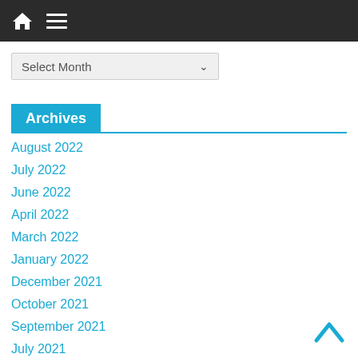Navigation bar with home icon and menu icon
Select Month
Archives
August 2022
July 2022
June 2022
April 2022
March 2022
January 2022
December 2021
October 2021
September 2021
July 2021